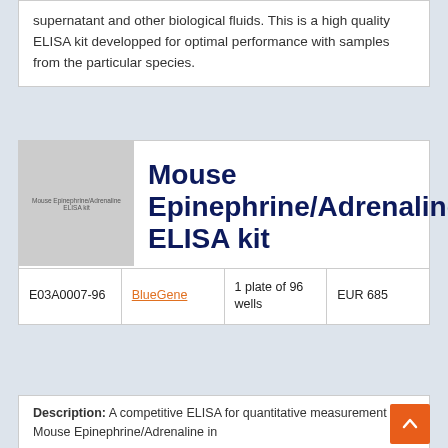supernatant and other biological fluids. This is a high quality ELISA kit developped for optimal performance with samples from the particular species.
[Figure (photo): Product image placeholder for Mouse Epinephrine/Adrenaline ELISA kit, grey box with label text]
Mouse Epinephrine/Adrenaline ELISA kit
|  |  |  |  |
| --- | --- | --- | --- |
| E03A0007-96 | BlueGene | 1 plate of 96 wells | EUR 685 |
Description: A competitive ELISA for quantitative measurement of Mouse Epinephrine/Adrenaline in